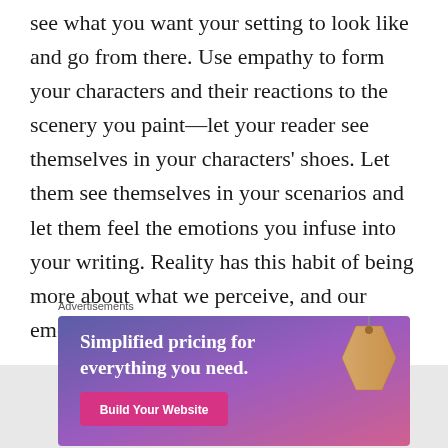see what you want your setting to look like and go from there. Use empathy to form your characters and their reactions to the scenery you paint—let your reader see themselves in your characters' shoes. Let them see themselves in your scenarios and let them feel the emotions you infuse into your writing. Reality has this habit of being more about what we perceive, and our emotions are part of that perception.
Advertisements
[Figure (infographic): Advertisement banner with purple-to-pink gradient background. Text reads 'Simplified pricing for everything you need.' with a pink 'Build Your Website' button and a price tag graphic on the right side.]